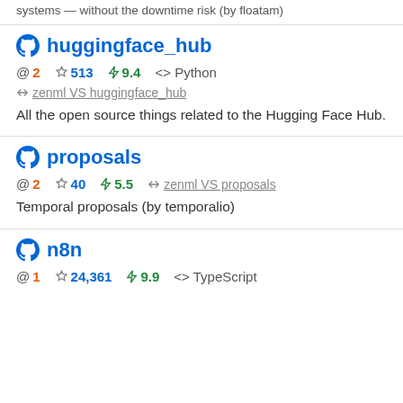systems — without the downtime risk (by floatam)
huggingface_hub
@ 2  ☆ 513  ⚡ 9.4  <> Python
↔ zenml VS huggingface_hub
All the open source things related to the Hugging Face Hub.
proposals
@ 2  ☆ 40  ⚡ 5.5  ↔ zenml VS proposals
Temporal proposals (by temporalio)
n8n
@ 1  ☆ 24,361  ⚡ 9.9  <> TypeScript